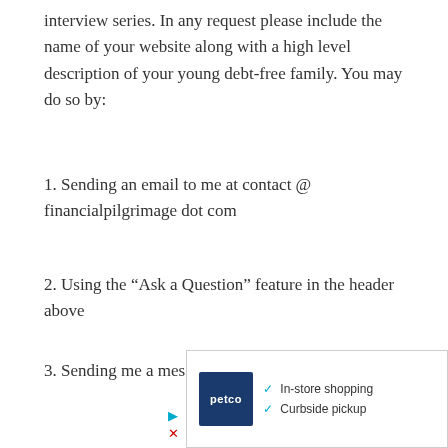interview series. In any request please include the name of your website along with a high level description of your young debt-free family. You may do so by:
1. Sending an email to me at contact @ financialpilgrimage dot com
2. Using the “Ask a Question” feature in the header above
3. Sending me a message on Twitter @Financialplgrm
[Figure (other): Petco advertisement showing logo with checkmarks for In-store shopping and Curbside pickup, with play and close icons]